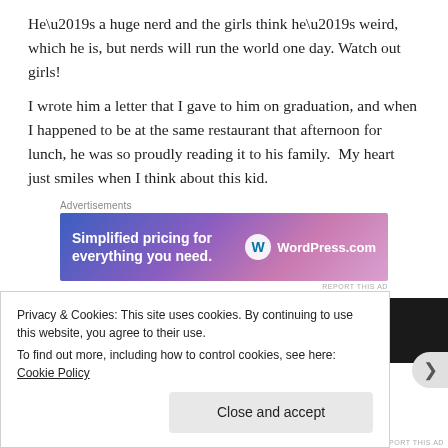He’s a huge nerd and the girls think he’s weird, which he is, but nerds will run the world one day. Watch out girls!
I wrote him a letter that I gave to him on graduation, and when I happened to be at the same restaurant that afternoon for lunch, he was so proudly reading it to his family.  My heart just smiles when I think about this kid.
[Figure (screenshot): WordPress.com advertisement banner with text 'Simplified pricing for everything you need.' and WordPress logo on right side, gradient blue-purple-pink background.]
[Figure (photo): Dark interior photo strip, partially visible, with a small bright light spot visible in the upper area.]
Privacy & Cookies: This site uses cookies. By continuing to use this website, you agree to their use.
To find out more, including how to control cookies, see here: Cookie Policy